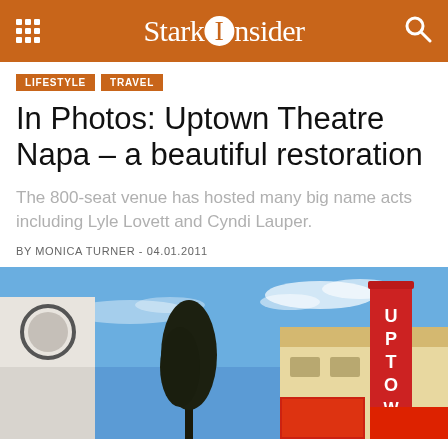StarkInsider
LIFESTYLE
TRAVEL
In Photos: Uptown Theatre Napa – a beautiful restoration
The 800-seat venue has hosted many big name acts including Lyle Lovett and Cyndi Lauper.
BY MONICA TURNER - 04.01.2011
[Figure (photo): Exterior photograph of Uptown Theatre Napa showing the red vertical marquee sign with U-P-T-O letters visible, a yellow building facade, blue sky with light clouds, and a dark tree on the left side.]